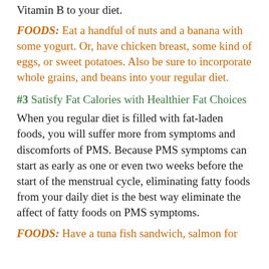Vitamin B to your diet.
FOODS: Eat a handful of nuts and a banana with some yogurt. Or, have chicken breast, some kind of eggs, or sweet potatoes. Also be sure to incorporate whole grains, and beans into your regular diet.
#3 Satisfy Fat Calories with Healthier Fat Choices
When you regular diet is filled with fat-laden foods, you will suffer more from symptoms and discomforts of PMS. Because PMS symptoms can start as early as one or even two weeks before the start of the menstrual cycle, eliminating fatty foods from your daily diet is the best way eliminate the affect of fatty foods on PMS symptoms.
FOODS: Have a tuna fish sandwich, salmon for